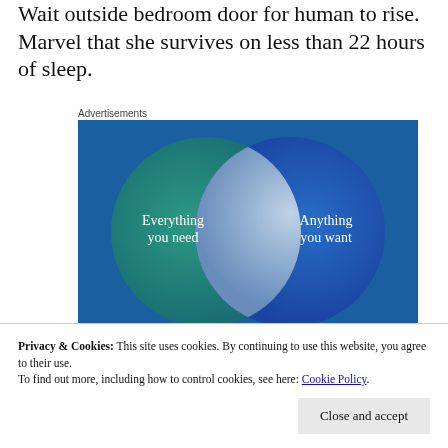Wait outside bedroom door for human to rise. Marvel that she survives on less than 22 hours of sleep.
Advertisements
[Figure (infographic): Venn diagram with two overlapping circles on a blue-green gradient background. Left circle (teal/green) labeled 'Everything you need', right circle (blue) labeled 'Anything you want'. The overlapping intersection is a lighter silvery-white area.]
Privacy & Cookies: This site uses cookies. By continuing to use this website, you agree to their use.
To find out more, including how to control cookies, see here: Cookie Policy